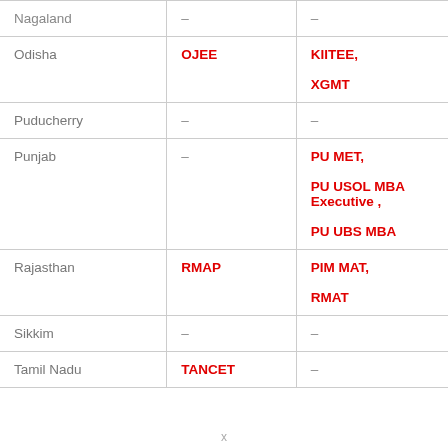| State | State-level Exam | University/Institute-level Exam |
| --- | --- | --- |
| Nagaland | – | – |
| Odisha | OJEE | KIITEE,
XGMT |
| Puducherry | – | – |
| Punjab | – | PU MET,
PU USOL MBA Executive ,
PU UBS MBA |
| Rajasthan | RMAP | PIM MAT,
RMAT |
| Sikkim | – | – |
| Tamil Nadu | TANCET | – |
x